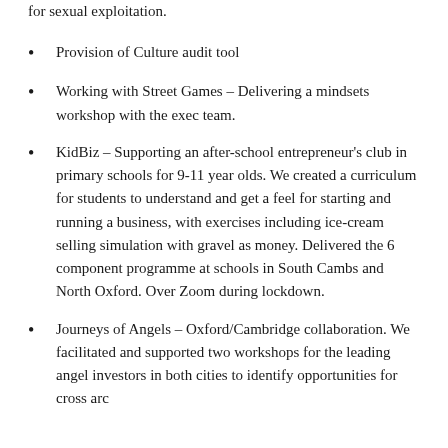for sexual exploitation.
Provision of Culture audit tool
Working with Street Games – Delivering a mindsets workshop with the exec team.
KidBiz – Supporting an after-school entrepreneur's club in primary schools for 9-11 year olds. We created a curriculum for students to understand and get a feel for starting and running a business, with exercises including ice-cream selling simulation with gravel as money. Delivered the 6 component programme at schools in South Cambs and North Oxford. Over Zoom during lockdown.
Journeys of Angels – Oxford/Cambridge collaboration. We facilitated and supported two workshops for the leading angel investors in both cities to identify opportunities for cross arc…